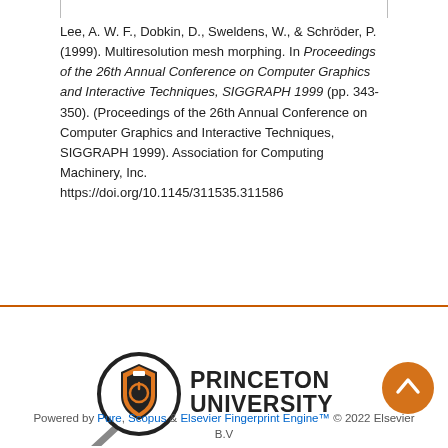Lee, A. W. F., Dobkin, D., Sweldens, W., & Schröder, P. (1999). Multiresolution mesh morphing. In Proceedings of the 26th Annual Conference on Computer Graphics and Interactive Techniques, SIGGRAPH 1999 (pp. 343-350). (Proceedings of the 26th Annual Conference on Computer Graphics and Interactive Techniques, SIGGRAPH 1999). Association for Computing Machinery, Inc. https://doi.org/10.1145/311535.311586
[Figure (logo): Princeton University logo with magnifying glass icon and text PRINCETON UNIVERSITY]
Powered by Pure, Scopus & Elsevier Fingerprint Engine™ © 2022 Elsevier B.V